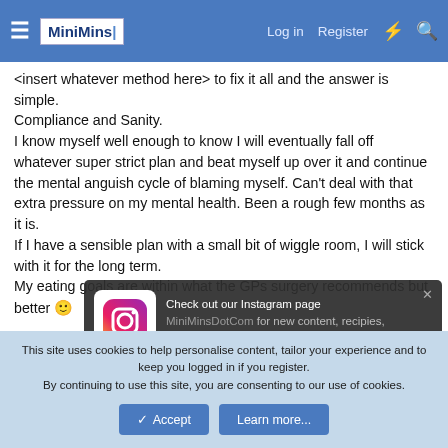MiniMins - Log in - Register
<insert whatever method here> to fix it all and the answer is simple.
Compliance and Sanity.
I know myself well enough to know I will eventually fall off whatever super strict plan and beat myself up over it and continue the mental anguish cycle of blaming myself. Can't deal with that extra pressure on my mental health. Been a rough few months as it is.
If I have a sensible plan with a small bit of wiggle room, I will stick with it for the long term.
My eating goals are within what the GPs surgery recommends but better 🙂

rambling again (sorry) 🤨
[Figure (screenshot): Instagram popup notification: Check out our Instagram page MiniMinsDotCom for new content, recipies, ideas and motivation!]
This site uses cookies to help personalise content, tailor your experience and to keep you logged in if you register.
By continuing to use this site, you are consenting to our use of cookies.